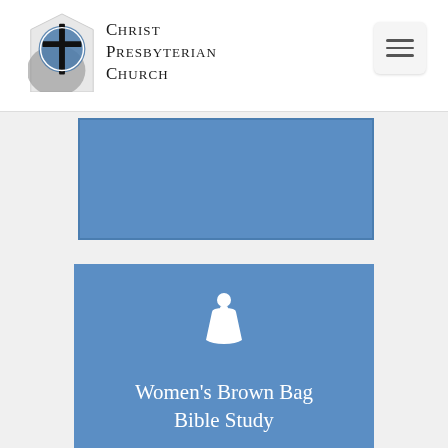[Figure (logo): Christ Presbyterian Church logo with cross inside circle, with church name beside it]
[Figure (illustration): Blue rectangular card (partially visible at top of page), appears to be a content card]
[Figure (illustration): Blue rectangular card with white female figure icon and text reading Women's Brown Bag Bible Study]